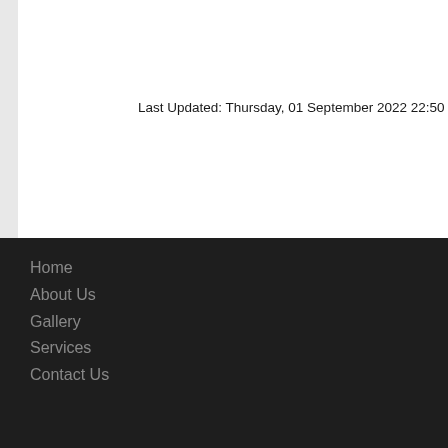Last Updated: Thursday, 01 September 2022 22:50
Home
About Us
Gallery
Services
Contact Us